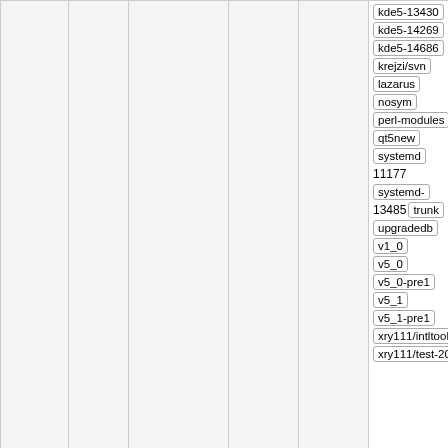|  |  |  |  |  | kde5-13430 kde5-14269 kde5-14686 krejzi/svn lazarus nosym perl-modules qt5new systemd 11177 systemd-13485 trunk upgradedb v1_0 v5_0 v5_0-pre1 v5_1 v5_1-pre1 xry111/intltool xry111/test-20220226 |
|  |  |  |  |  | update slang, add patch to reiserfs and add sed to bc git-svn-id: ... 10.0 10.1 11.0 11.1 6.0 6.1 6.2 6.2.0 6.2.0-rc1 6.2.0-rc2 6.3 6.3-rc1 6.3-rc2 6.3-rc3 7.10 7.4 7.5 7.6 7.6-blfs 7.6-systemd 7.7 7.8 7.9 8.0 |